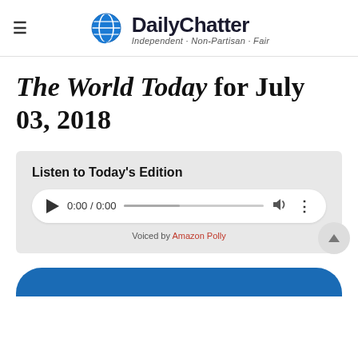DailyChatter — Independent · Non-Partisan · Fair
The World Today for July 03, 2018
[Figure (screenshot): Audio player widget with label 'Listen to Today's Edition', showing a playback control bar with play button, time display 0:00 / 0:00, progress bar, volume icon, and more options icon. Below the player: 'Voiced by Amazon Polly'.]
[Figure (screenshot): Partial blue rounded button at the bottom of the page (cropped).]